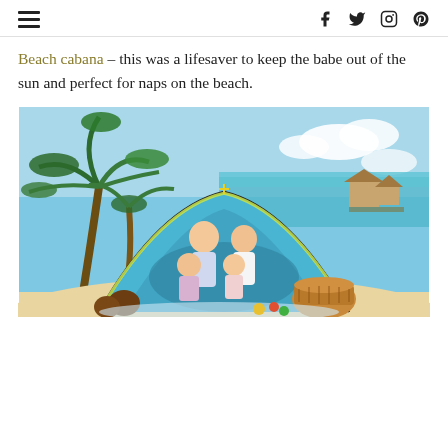Navigation header with hamburger menu and social icons (Facebook, Twitter, Instagram, Pinterest)
Beach cabana – this was a lifesaver to keep the babe out of the sun and perfect for naps on the beach.
[Figure (photo): A family of four (father, mother, two daughters) sitting inside a blue beach cabana/pop-up tent on a tropical beach with palm trees, turquoise water, and overwater bungalows in the background. A wicker picnic basket and coconuts are visible in the foreground.]